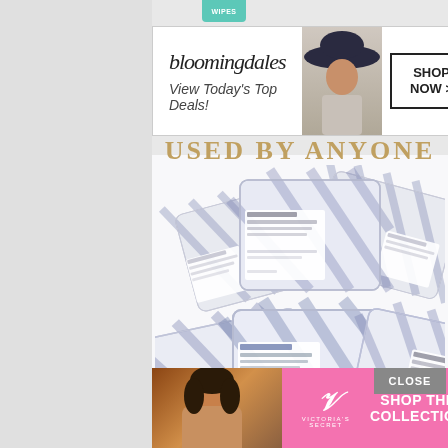[Figure (screenshot): Bloomingdales advertisement banner with logo, 'View Today's Top Deals!' tagline, model with hat, and 'SHOP NOW >' button]
USED BY ANYONE
[Figure (photo): Product photo of multiple packs of makeup remover cleansing towelettes with blue and white geometric pattern packaging]
[Figure (screenshot): Victoria's Secret advertisement with model, VS logo, 'SHOP THE COLLECTION' text and 'SHOP NOW' button on pink background]
CLOSE